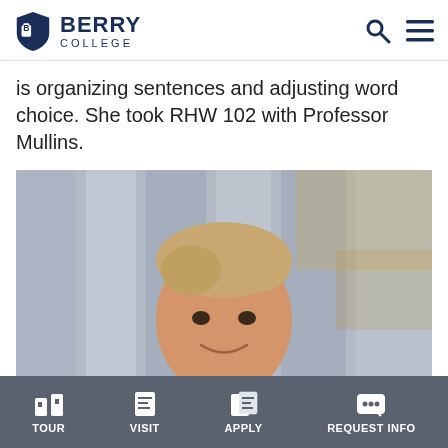Berry College
is organizing sentences and adjusting word choice. She took RHW 102 with Professor Mullins.
[Figure (photo): Headshot of a young male student smiling, with blurred columns in the background]
TOUR  VISIT  APPLY  REQUEST INFO